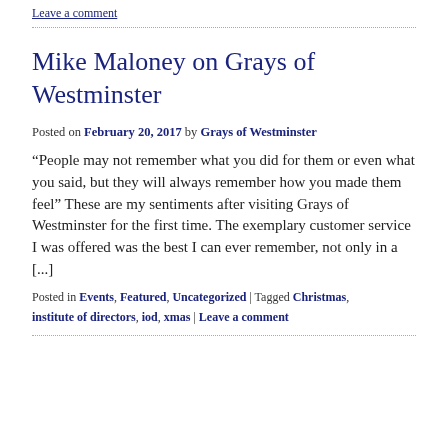Leave a comment
Mike Maloney on Grays of Westminster
Posted on February 20, 2017 by Grays of Westminster
“People may not remember what you did for them or even what you said, but they will always remember how you made them feel” These are my sentiments after visiting Grays of Westminster for the first time. The exemplary customer service I was offered was the best I can ever remember, not only in a [...]
Posted in Events, Featured, Uncategorized | Tagged Christmas, institute of directors, iod, xmas | Leave a comment